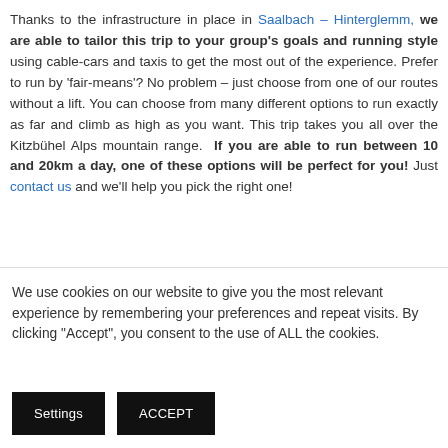Thanks to the infrastructure in place in Saalbach – Hinterglemm, we are able to tailor this trip to your group's goals and running style using cable-cars and taxis to get the most out of the experience. Prefer to run by 'fair-means'? No problem – just choose from one of our routes without a lift. You can choose from many different options to run exactly as far and climb as high as you want. This trip takes you all over the Kitzbühel Alps mountain range. If you are able to run between 10 and 20km a day, one of these options will be perfect for you! Just contact us and we'll help you pick the right one!
We use cookies on our website to give you the most relevant experience by remembering your preferences and repeat visits. By clicking "Accept", you consent to the use of ALL the cookies.
Settings | ACCEPT